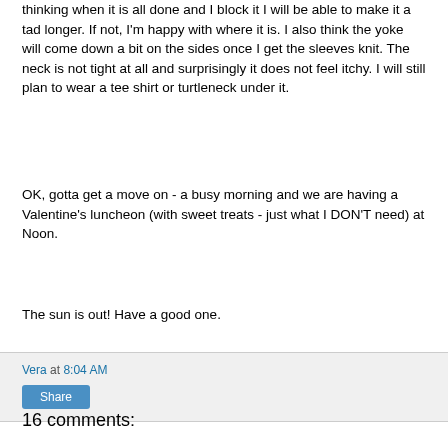thinking when it is all done and I block it I will be able to make it a tad longer.  If not, I'm happy with where it is.  I also think the yoke will come down a bit on the sides once I get the sleeves knit.  The neck is not tight at all and surprisingly it does not feel itchy.  I will still plan to wear a tee shirt or turtleneck under it.
OK, gotta get a move on - a busy morning and we are having a Valentine's luncheon (with sweet treats - just what I DON'T need) at Noon.
The sun is out!  Have a good one.
Vera at 8:04 AM
16 comments: